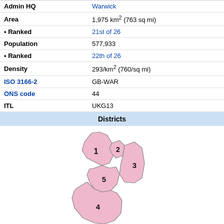| Field | Value |
| --- | --- |
| Admin HQ | Warwick |
| Area | 1,975 km² (763 sq mi) |
| • Ranked | 21st of 26 |
| Population | 577,933 |
| • Ranked | 22th of 26 |
| Density | 293/km² (760/sq mi) |
| ISO 3166-2 | GB-WAR |
| ONS code | 44 |
| ITL | UKG13 |
Districts
[Figure (map): Map showing the districts of Warwickshire numbered 1 through 5, rendered in pink with district boundaries.]
Districts of Warwickshire